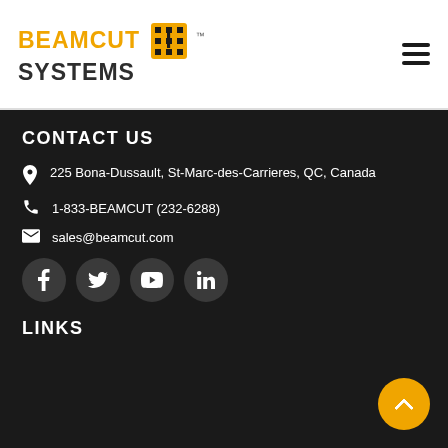BeamCut Systems logo and navigation
CONTACT US
225 Bona-Dussault, St-Marc-des-Carrieres, QC, Canada
1-833-BEAMCUT (232-6288)
sales@beamcut.com
[Figure (infographic): Social media icon buttons: Facebook, Twitter, YouTube, LinkedIn]
LINKS